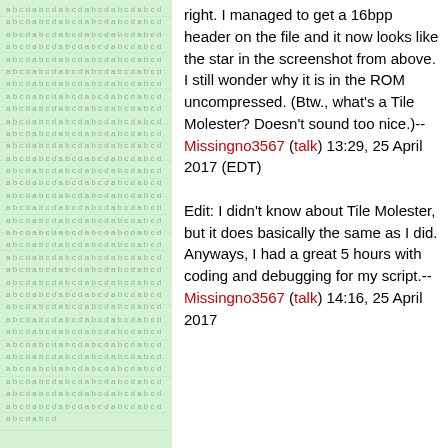[Figure (other): Left panel with light green background and faint repeating text pattern]
right. I managed to get a 16bpp header on the file and it now looks like the star in the screenshot from above. I still wonder why it is in the ROM uncompressed. (Btw., what's a Tile Molester? Doesn't sound too nice.)-- Missingno3567 (talk) 13:29, 25 April 2017 (EDT) Edit: I didn't know about Tile Molester, but it does basically the same as I did. Anyways, I had a great 5 hours with coding and debugging for my script.--Missingno3567 (talk) 14:16, 25 April 2017